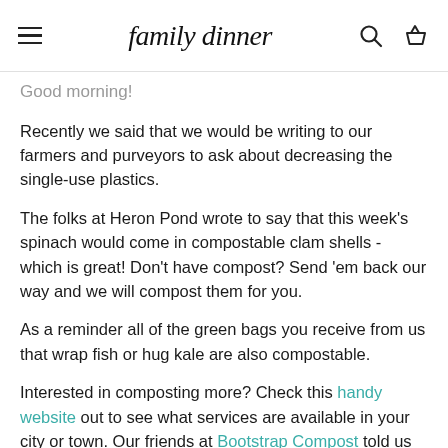family dinner (logo with hamburger menu, search, and basket icons)
Good morning!
Recently we said that we would be writing to our farmers and purveyors to ask about decreasing the single-use plastics.
The folks at Heron Pond wrote to say that this week's spinach would come in compostable clam shells - which is great! Don't have compost? Send 'em back our way and we will compost them for you.
As a reminder all of the green bags you receive from us that wrap fish or hug kale are also compostable.
Interested in composting more? Check this handy website out to see what services are available in your city or town. Our friends at Bootstrap Compost told us yesterday that they have been expanding West and South of the city as well.